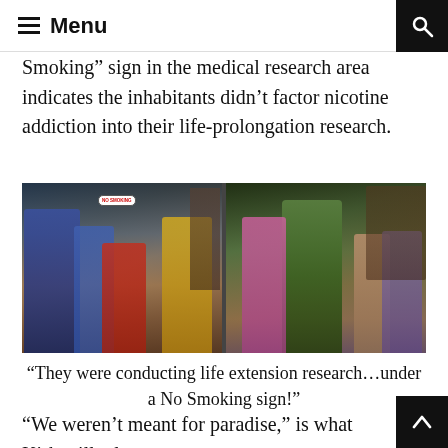Menu
Smoking” sign in the medical research area indicates the inhabitants didn’t factor nicotine addiction into their life-prolongation research.
[Figure (photo): Two side-by-side color photographs. Left: Star Trek scene with Spock, McCoy, a woman in red, and Captain Kirk in a lab with a NO SMOKING speech bubble sign visible. Right: A group of people including a large man in green, various others in colorful clothing in what appears to be a rustic interior.]
“They were conducting life extension research…under a No Smoking sign!”
“We weren’t meant for paradise,” is what Kirk will tell in the later season one episode “This Side of Paradise.”